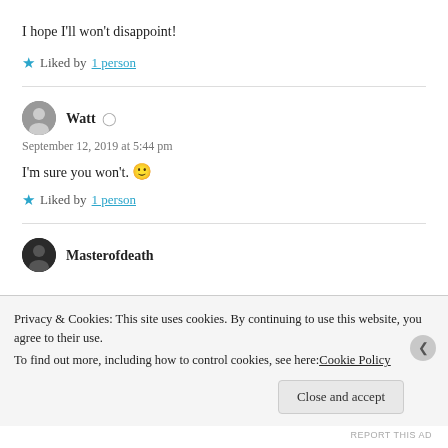I hope I'll won't disappoint!
★ Liked by 1 person
Watt
September 12, 2019 at 5:44 pm
I'm sure you won't. 🙂
★ Liked by 1 person
Masterofdeath
Privacy & Cookies: This site uses cookies. By continuing to use this website, you agree to their use.
To find out more, including how to control cookies, see here: Cookie Policy
Close and accept